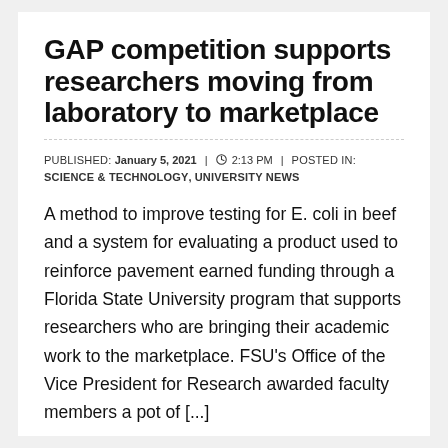GAP competition supports researchers moving from laboratory to marketplace
PUBLISHED: JANUARY 5, 2021 | 2:13 PM | POSTED IN: SCIENCE & TECHNOLOGY, UNIVERSITY NEWS
A method to improve testing for E. coli in beef and a system for evaluating a product used to reinforce pavement earned funding through a Florida State University program that supports researchers who are bringing their academic work to the marketplace. FSU's Office of the Vice President for Research awarded faculty members a pot of [...]
CONTINUE READING ›